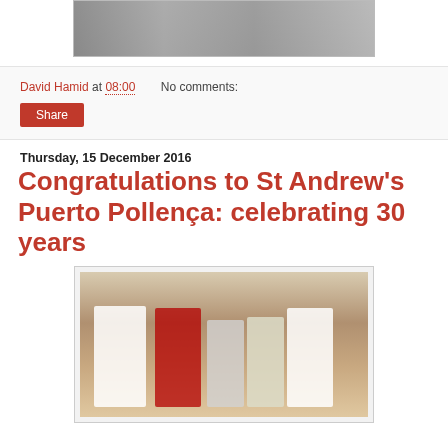[Figure (photo): Partial view of people at top of page, cropped photo]
David Hamid at 08:00    No comments:
Share
Thursday, 15 December 2016
Congratulations to St Andrew's Puerto Pollença: celebrating 30 years
[Figure (photo): Group photo of clergy and lay people in robes inside a room, celebrating 30 years of St Andrew's Puerto Pollença]